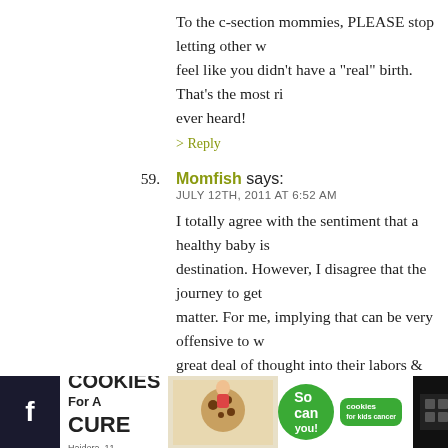To the c-section mommies, PLEASE stop letting other w... feel like you didn't have a "real" birth. That's the most ri... ever heard!
> Reply
59. Momfish says: JULY 12TH, 2011 AT 6:52 AM
I totally agree with the sentiment that a healthy baby is... destination. However, I disagree that the journey to get... matter. For me, implying that can be very offensive to w... great deal of thought into their labors & deliveries (whe... planned c-section or a natural birth). That's like saying j... destination is the grocery store, it doesn't matter if you... (not comparing any birth choices to these transportatio... the way). Whether you choose to walk, fly, or drive can... impact your experience. It will influence what you see, h... your journey, how tired you are when you arrive to the... For some women, it doesn't matter how they get their b...
[Figure (screenshot): Advertisement banner at bottom: 'I Bake COOKIES For A CURE' with green badge 'So can you!' and cookies for kids cancer logo, with close button]